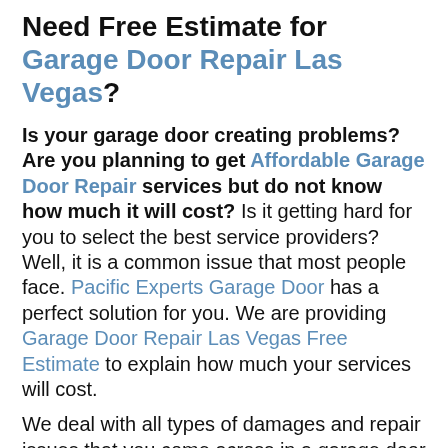Need Free Estimate for Garage Door Repair Las Vegas?
Is your garage door creating problems? Are you planning to get Affordable Garage Door Repair services but do not know how much it will cost? Is it getting hard for you to select the best service providers? Well, it is a common issue that most people face. Pacific Experts Garage Door has a perfect solution for you. We are providing Garage Door Repair Las Vegas Free Estimate to explain how much your services will cost.
We deal with all types of damages and repair issues that you come across in a garage door and handle all types of models and brands of garage doors. You can rest assured that your garage door is in the hands of